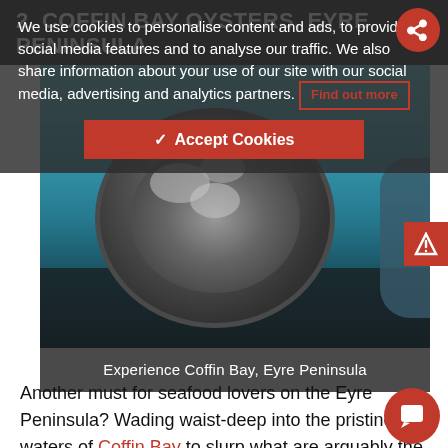2. COFFIN BAY OYSTERS, EYRE PENINSULA
We use cookies to personalise content and ads, to provide social media features and to analyse our traffic. We also share information about your use of our site with our social media, advertising and analytics partners. Find out more
[Figure (photo): Photo of a large pot/basket filled with oysters being held over turquoise water, with a person's hands visible. Cookie consent overlay and Accept Cookies button visible on top.]
Experience Coffin Bay, Eyre Peninsula
Another must for seafood lovers on the Eyre Peninsula? Wading waist-deep into the pristine waters of Coffin Bay to slurp what are arguably the world's best oysters straight from the so on a working oyster farm. Pull-up in Coffin Bay jump on-board an oyster boat, then chug out to